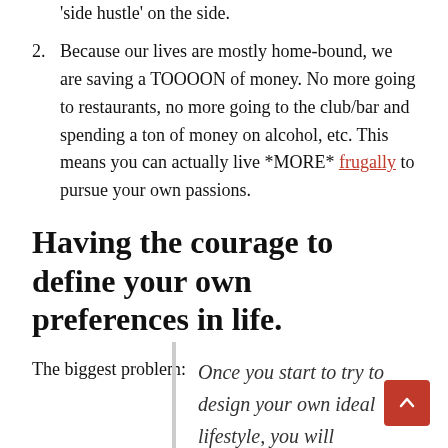'side hustle' on the side.
Because our lives are mostly home-bound, we are saving a TOOOON of money. No more going to restaurants, no more going to the club/bar and spending a ton of money on alcohol, etc. This means you can actually live *MORE* frugally to pursue your own passions.
Having the courage to define your own preferences in life.
The biggest problem:
Once you start to try to design your own ideal lifestyle, you will